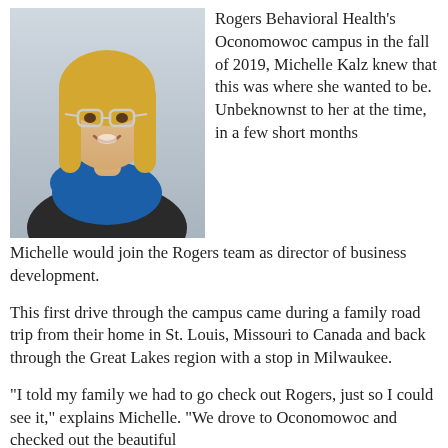[Figure (photo): Headshot photo of Michelle Kalz, a woman with long blonde hair, glasses, and a blue scarf over a dark jacket, smiling against a light background.]
Rogers Behavioral Health's Oconomowoc campus in the fall of 2019, Michelle Kalz knew that this was where she wanted to be. Unbeknownst to her at the time, in a few short months Michelle would join the Rogers team as director of business development.
This first drive through the campus came during a family road trip from their home in St. Louis, Missouri to Canada and back through the Great Lakes region with a stop in Milwaukee.
"I told my family we had to go check out Rogers, just so I could see it," explains Michelle. "We drove to Oconomowoc and checked out the beautiful campus, they couldn't believe how fortunate they...